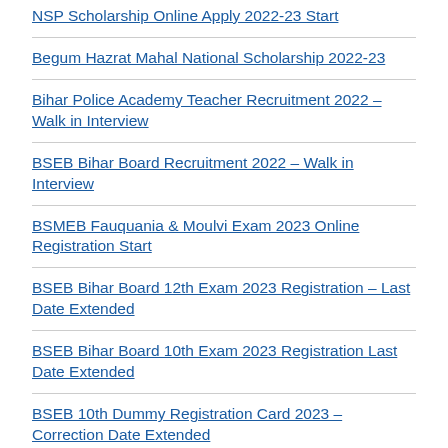NSP Scholarship Online Apply 2022-23 Start
Begum Hazrat Mahal National Scholarship 2022-23
Bihar Police Academy Teacher Recruitment 2022 – Walk in Interview
BSEB Bihar Board Recruitment 2022 – Walk in Interview
BSMEB Fauquania & Moulvi Exam 2023 Online Registration Start
BSEB Bihar Board 12th Exam 2023 Registration – Last Date Extended
BSEB Bihar Board 10th Exam 2023 Registration Last Date Extended
BSEB 10th Dummy Registration Card 2023 – Correction Date Extended
BSEB 12th Dummy Registration Card 2023 – Correction Date Extended